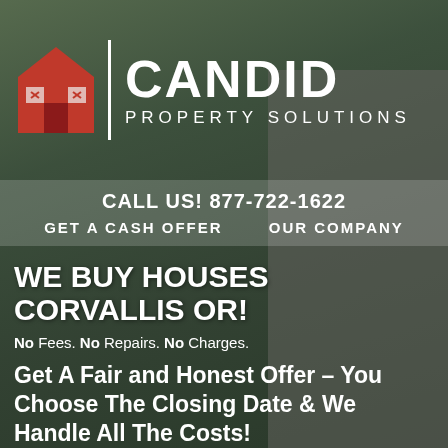[Figure (photo): Aerial/overhead view of suburban houses and streets with dark green/grey overlay, serving as background image for a real estate advertisement]
CANDID PROPERTY SOLUTIONS
CALL US! 877-722-1622
GET A CASH OFFER    OUR COMPANY
WE BUY HOUSES CORVALLIS OR!
No Fees. No Repairs. No Charges.
Get A Fair and Honest Offer – You Choose The Closing Date & We Handle All The Costs!
Need to sell my house fast Corvallis? Fill out the short form…